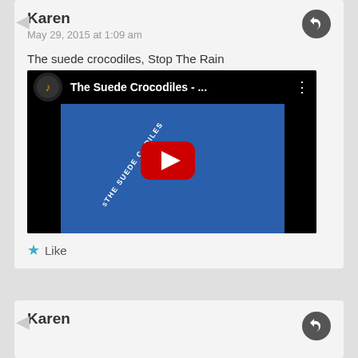Karen
May 29, 2015 at 1:09 am
The suede crocodiles, Stop The Rain
[Figure (screenshot): YouTube video embed showing The Suede Crocodiles thumbnail with play button, blue record background with white text diagonal]
Like
Karen